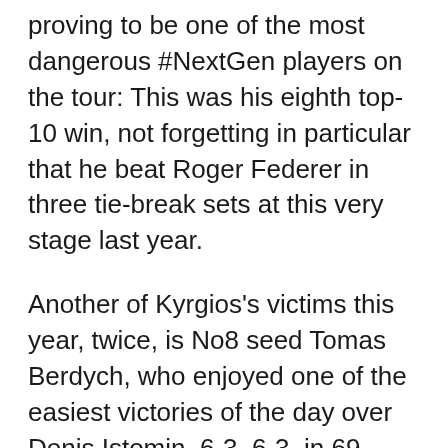proving to be one of the most dangerous #NextGen players on the tour: This was his eighth top-10 win, not forgetting in particular that he beat Roger Federer in three tie-break sets at this very stage last year.
Another of Kyrgios's victims this year, twice, is No8 seed Tomas Berdych, who enjoyed one of the easiest victories of the day over Denis Istomin, 6-3, 6-3, in 69 minutes, and will next face either David Ferrer or Denis Kudla.
Other seeds found progress altogether tougher. No15 seed Roberto Bautista Agut, who also has two titles this year, took three hours to beat